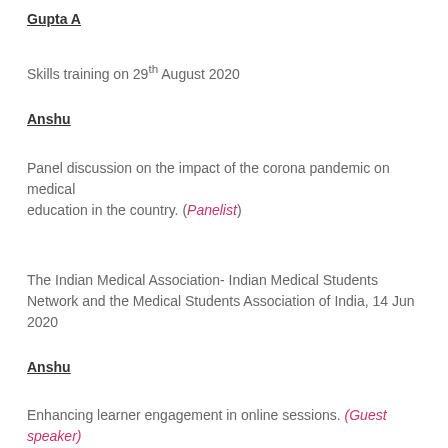Gupta A
Skills training on 29th August 2020
Anshu
Panel discussion on the impact of the corona pandemic on medical education in the country. (Panelist)
The Indian Medical Association- Indian Medical Students Network and the Medical Students Association of India, 14 Jun 2020
Anshu
Enhancing learner engagement in online sessions. (Guest speaker)